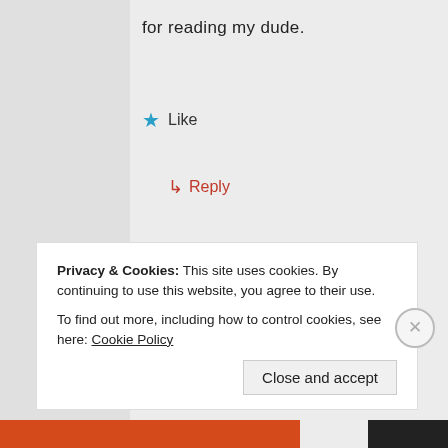for reading my dude.
★ Like
↳ Reply
teeto
11/11/2013 at 9:07 PM
Privacy & Cookies: This site uses cookies. By continuing to use this website, you agree to their use.
To find out more, including how to control cookies, see here: Cookie Policy
Close and accept